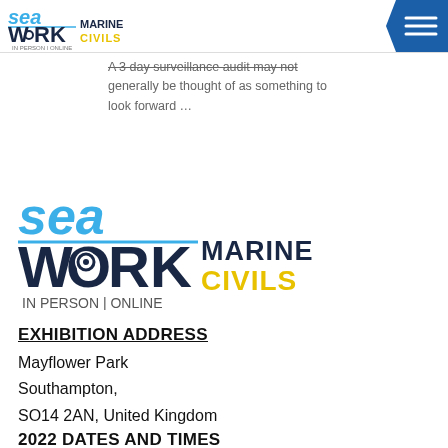Seawork Marine Civils — In Person | Online
A 3 day surveillance audit may not generally be thought of as something to look forward …
[Figure (logo): Seawork Marine Civils In Person | Online logo — large version in center of page]
EXHIBITION ADDRESS
Mayflower Park
Southampton,
SO14 2AN, United Kingdom
2022 DATES AND TIMES